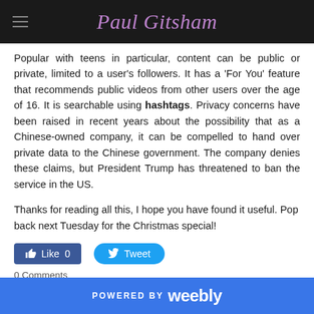Paul Gitsham
Popular with teens in particular, content can be public or private, limited to a user's followers. It has a 'For You' feature that recommends public videos from other users over the age of 16. It is searchable using hashtags. Privacy concerns have been raised in recent years about the possibility that as a Chinese-owned company, it can be compelled to hand over private data to the Chinese government. The company denies these claims, but President Trump has threatened to ban the service in the US.
Thanks for reading all this, I hope you have found it useful. Pop back next Tuesday for the Christmas special!
[Figure (other): Facebook Like button showing 0 likes and Twitter Tweet button]
0 Comments
POWERED BY weebly